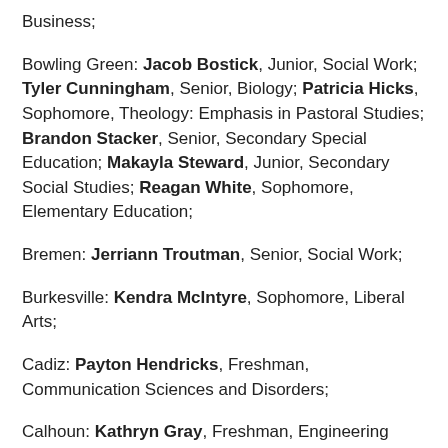Business;
Bowling Green: Jacob Bostick, Junior, Social Work; Tyler Cunningham, Senior, Biology; Patricia Hicks, Sophomore, Theology: Emphasis in Pastoral Studies; Brandon Stacker, Senior, Secondary Special Education; Makayla Steward, Junior, Secondary Social Studies; Reagan White, Sophomore, Elementary Education;
Bremen: Jerriann Troutman, Senior, Social Work;
Burkesville: Kendra McIntyre, Sophomore, Liberal Arts;
Cadiz: Payton Hendricks, Freshman, Communication Sciences and Disorders;
Calhoun: Kathryn Gray, Freshman, Engineering Studies;